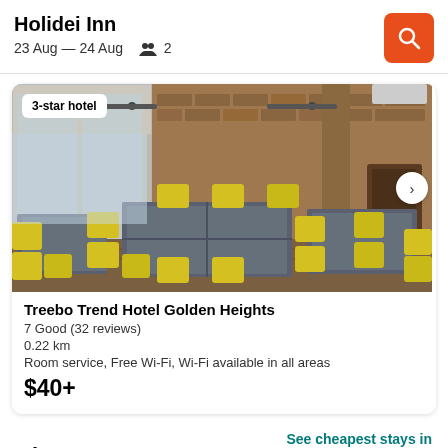Holidei Inn
23 Aug — 24 Aug  2
[Figure (photo): Interior of hotel restaurant/dining area with yellow chairs, dark tables, brick walls, ceiling fans, and glass partitions. Badge showing '3-star hotel' in top left corner.]
Treebo Trend Hotel Golden Heights
7 Good (32 reviews)
0.22 km
Room service, Free Wi-Fi, Wi-Fi available in all areas
$40+
Cheapest
See cheapest stays in Jamshedpur